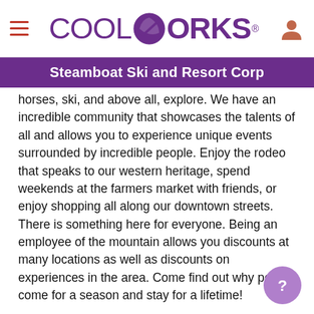CoolWorks — Steamboat Ski and Resort Corp
horses, ski, and above all, explore. We have an incredible community that showcases the talents of all and allows you to experience unique events surrounded by incredible people. Enjoy the rodeo that speaks to our western heritage, spend weekends at the farmers market with friends, or enjoy shopping all along our downtown streets. There is something here for everyone. Being an employee of the mountain allows you discounts at many locations as well as discounts on experiences in the area. Come find out why people come for a season and stay for a lifetime!
Ideal Candidate